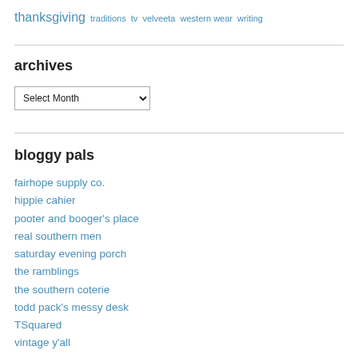thanksgiving traditions tv velveeta western wear writing
archives
Select Month
bloggy pals
fairhope supply co.
hippie cahier
pooter and booger's place
real southern men
saturday evening porch
the ramblings
the southern coterie
todd pack's messy desk
TSquared
vintage y'all